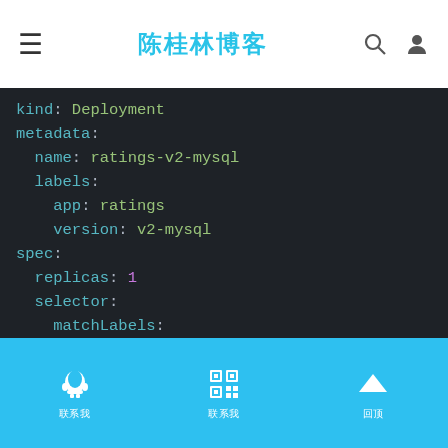陈桂林博客
[Figure (screenshot): YAML code block showing Kubernetes Deployment configuration for ratings-v2-mysql with syntax highlighting on dark background]
联系我  联系我  回顶